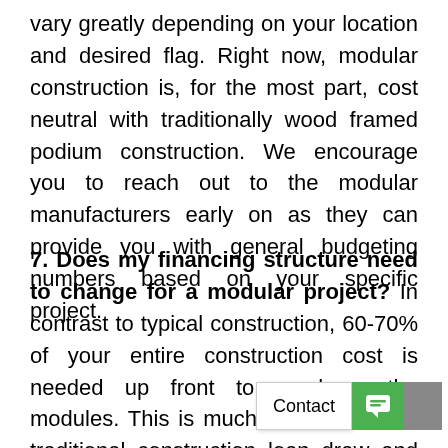vary greatly depending on your location and desired flag. Right now, modular construction is, for the most part, cost neutral with traditionally wood framed podium construction. We encourage you to reach out to the modular manufacturers early on as they can provide you with general budgeting numbers based on your specific project.
7. Does my financing structure need to change for a modular project? In contrast to typical construction, 60-70% of your entire construction cost is needed up front to purchase the modules. This is much different than a traditional construction loan draw and m... s need to be educated on this process. We